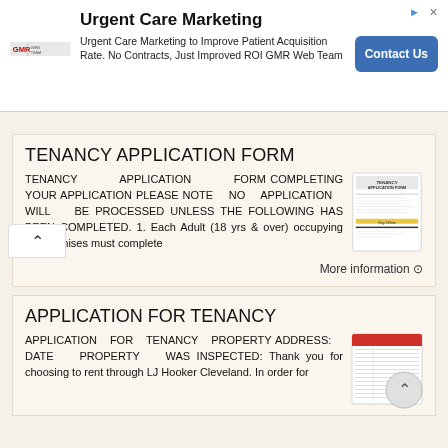[Figure (other): Advertisement banner for Urgent Care Marketing by GMR Web Team with Contact Us button]
TENANCY APPLICATION FORM
TENANCY APPLICATION FORM COMPLETING YOUR APPLICATION PLEASE NOTE NO APPLICATION WILL BE PROCESSED UNLESS THE FOLLOWING HAS BEEN COMPLETED. 1. Each Adult (18 yrs & over) occupying the premises must complete
More information →
APPLICATION FOR TENANCY
APPLICATION FOR TENANCY PROPERTY ADDRESS: DATE PROPERTY WAS INSPECTED: Thank you for choosing to rent through LJ Hooker Cleveland. In order for